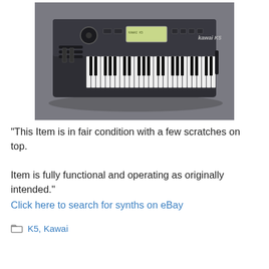[Figure (photo): Photo of a Kawai K5 synthesizer keyboard on a grey carpet background. The keyboard has a dark grey/black body with white and black keys, a small LCD display, various buttons and a knob on the top panel.]
“This Item is in fair condition with a few scratches on top.

Item is fully functional and operating as originally intended.”
Click here to search for synths on eBay
K5, Kawai